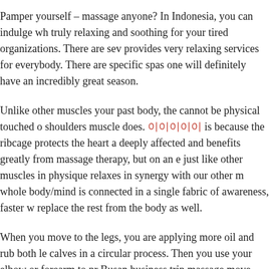Pamper yourself – massage anyone? In Indonesia, you can indulge wh truly relaxing and soothing for your tired organizations. There are sev provides very relaxing services for everybody. There are specific spas one will definitely have an incredibly great season.
Unlike other muscles your past body, the cannot be physical touched o shoulders muscle does. 이이이이이 is because the ribcage protects the heart a deeply affected and benefits greatly from massage therapy, but on an e just like other muscles in physique relaxes in synergy with our other m whole body/mind is connected in a single fabric of awareness, faster w replace the rest from the body as well.
When you move to the legs, you are applying more oil and rub both le calves in a circular process. Then you use your elbow or forearm to pr Busan business trip massage move further down for the feet to squeez
Before you sign up for any course it is essential to are able to choose p appear far more complicated because there is a greater choice. To star many details as possible relating to the massage training centres ins